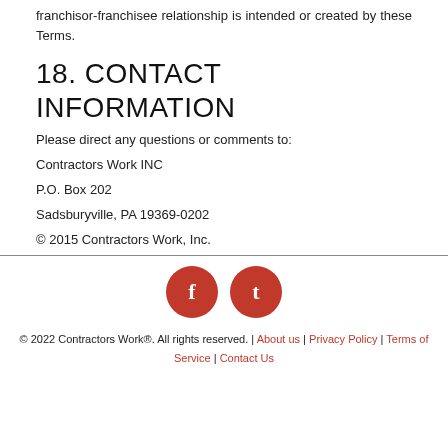franchisor-franchisee relationship is intended or created by these Terms.
18. CONTACT INFORMATION
Please direct any questions or comments to:
Contractors Work INC
P.O. Box 202
Sadsburyville, PA 19369-0202
© 2015 Contractors Work, Inc.
[Figure (logo): Two red circular social media icons: one with letter 'f' (Facebook) and one with letter 't' (Tumblr/Twitter)]
© 2022 Contractors Work®. All rights reserved. | About us | Privacy Policy | Terms of Service | Contact Us